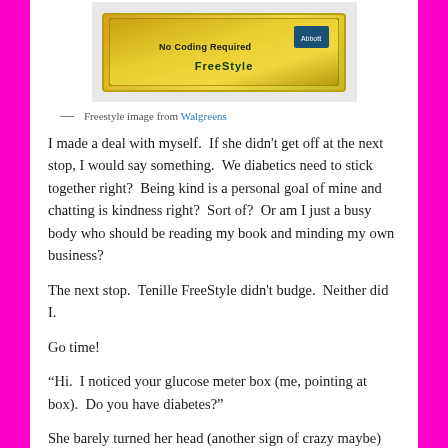[Figure (photo): Product box image of FreeStyle glucose meter, yellow packaging, shown partially at top of page]
— Freestyle image from Walgreens
I made a deal with myself.  If she didn't get off at the next stop, I would say something.  We diabetics need to stick together right?  Being kind is a personal goal of mine and chatting is kindness right?  Sort of?  Or am I just a busy body who should be reading my book and minding my own business?
The next stop.  Tenille FreeStyle didn't budge.  Neither did I.
Go time!
“Hi.  I noticed your glucose meter box (me, pointing at box).  Do you have diabetes?”
She barely turned her head (another sign of crazy maybe)